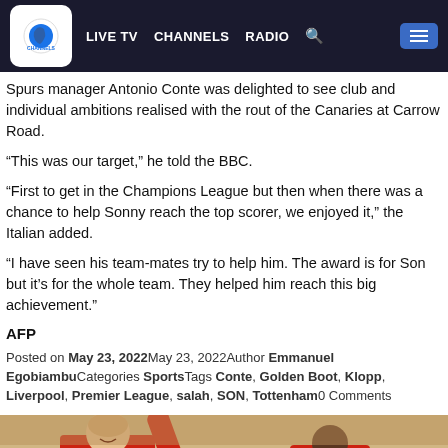LIVE TV  CHANNELS  RADIO  [search] [menu]
Spurs manager Antonio Conte was delighted to see club and individual ambitions realised with the rout of the Canaries at Carrow Road.
“This was our target,” he told the BBC.
“First to get in the Champions League but then when there was a chance to help Sonny reach the top scorer, we enjoyed it,” the Italian added.
“I have seen his team-mates try to help him. The award is for Son but it’s for the whole team. They helped him reach this big achievement.”
AFP
Posted on May 23, 2022May 23, 2022Author Emmanuel EgobiambuCategories SportsTags Conte, Golden Boot, Klopp, Liverpool, Premier League, salah, SON, Tottenham0 Comments
[Figure (photo): Football players in red Arsenal kits, one with arm raised, crowd in background]